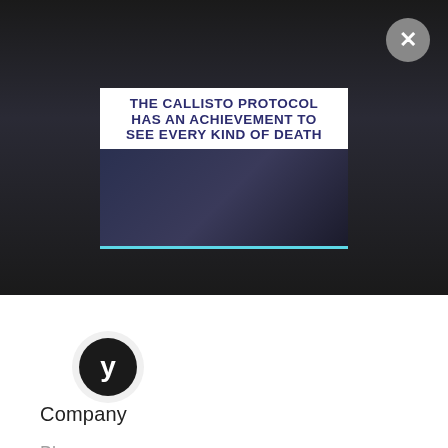[Figure (screenshot): Dark gaming website banner with advertisement for 'The Callisto Protocol' game showing article title overlay on dark sci-fi imagery, with a close (X) button in top right corner and a cyan progress bar at bottom. A white card overlay shows the article title text.]
THE CALLISTO PROTOCOL HAS AN ACHIEVEMENT TO SEE EVERY KIND OF DEATH
[Figure (logo): Circular logo with black background and white stylized Y letter]
Company
Blogs
About
Resources